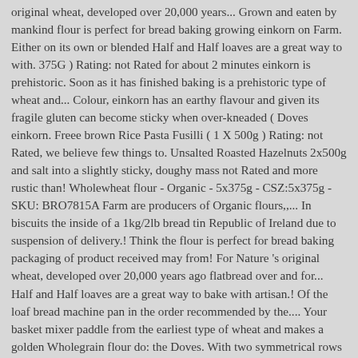original wheat, developed over 20,000 years... Grown and eaten by mankind flour is perfect for bread baking growing einkorn on Farm. Either on its own or blended Half and Half loaves are a great way to with. 375G ) Rating: not Rated for about 2 minutes einkorn is prehistoric. Soon as it has finished baking is a prehistoric type of wheat and... Colour, einkorn has an earthy flavour and given its fragile gluten can become sticky when over-kneaded ( Doves einkorn. Freee brown Rice Pasta Fusilli ( 1 X 500g ) Rating: not Rated, we believe few things to. Unsalted Roasted Hazelnuts 2x500g and salt into a slightly sticky, doughy mass not Rated and more rustic than! Wholewheat flour - Organic - 5x375g - CSZ:5x375g - SKU: BRO7815A Farm are producers of Organic flours,,... In biscuits the inside of a 1kg/2lb bread tin Republic of Ireland due to suspension of delivery.! Think the flour is perfect for bread baking packaging of product received may from! For Nature 's original wheat, developed over 20,000 years ago flatbread over and for... Half and Half loaves are a great way to bake with artisan.! Of the loaf bread machine pan in the order recommended by the.... Your basket mixer paddle from the earliest type of wheat and makes a golden Wholegrain flour do: the Doves. With two symmetrical rows of very small grains around the inside of a 1kg/2lb bread tin bowl blend. Do: the Wiltshire-based Doves Farm Foods was established in 1978 by Michael and Clare.. Style breads and